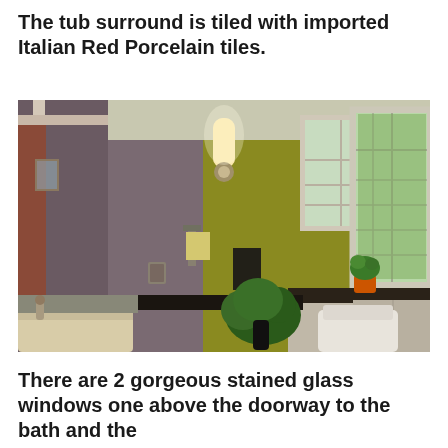The tub surround is tiled with imported Italian Red Porcelain tiles.
[Figure (photo): Interior bathroom photo showing a bathtub with tiled surround in the foreground, wall-mounted sconce light fixture, green/olive colored walls, two windows with decorative glass panes, plant on windowsill with orange pot, dark countertop, and a framed pug dog picture on the wall.]
There are 2 gorgeous stained glass windows one above the doorway to the bath and the